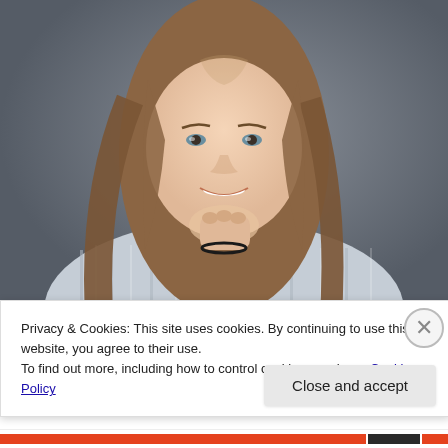[Figure (photo): Portrait photo of a young woman with long brown hair, smiling, wearing a striped button-up shirt, posing with her chin resting on her hand against a gray background.]
Privacy & Cookies: This site uses cookies. By continuing to use this website, you agree to their use.
To find out more, including how to control cookies, see here: Cookie Policy
Close and accept